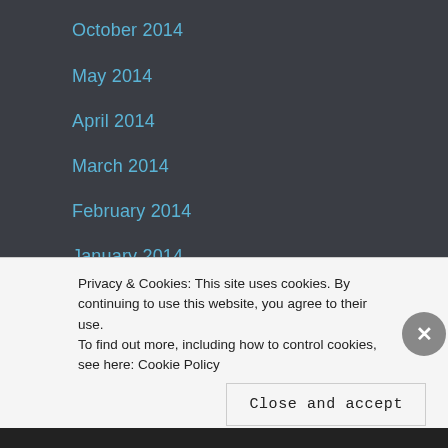October 2014
May 2014
April 2014
March 2014
February 2014
January 2014
December 2013
Categories
comic books
Fiction
Privacy & Cookies: This site uses cookies. By continuing to use this website, you agree to their use.
To find out more, including how to control cookies, see here: Cookie Policy
Close and accept